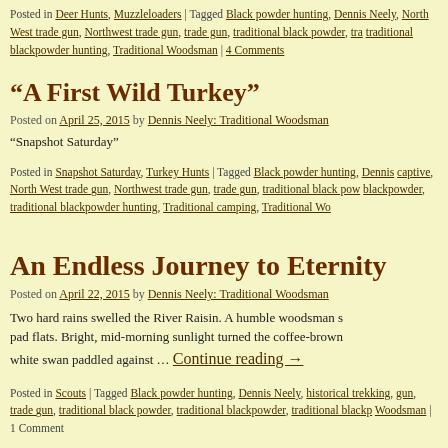Posted in Deer Hunts, Muzzleloaders | Tagged Black powder hunting, Dennis Neely, North West trade gun, Northwest trade gun, trade gun, traditional black powder, traditional blackpowder hunting, Traditional Woodsman | 4 Comments
“A First Wild Turkey”
Posted on April 25, 2015 by Dennis Neely: Traditional Woodsman
“Snapshot Saturday”
Posted in Snapshot Saturday, Turkey Hunts | Tagged Black powder hunting, Dennis captive, North West trade gun, Northwest trade gun, trade gun, traditional black powder, traditional blackpowder, traditional blackpowder hunting, Traditional camping, Traditional Woodsman
An Endless Journey to Eternity
Posted on April 22, 2015 by Dennis Neely: Traditional Woodsman
Two hard rains swelled the River Raisin. A humble woodsman s pad flats. Bright, mid-morning sunlight turned the coffee-brown white swan paddled against … Continue reading →
Posted in Scouts | Tagged Black powder hunting, Dennis Neely, historical trekking, gun, trade gun, traditional black powder, traditional blackpowder, traditional blackpowder Woodsman | 1 Comment